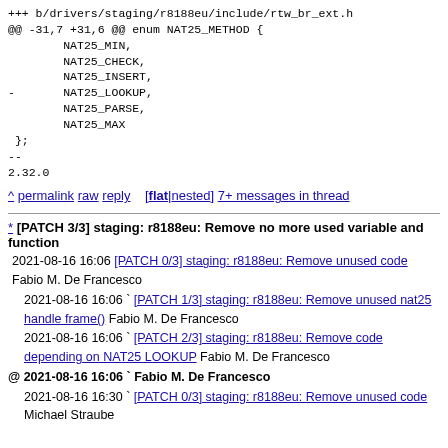+++ b/drivers/staging/r8188eu/include/rtw_br_ext.h
@@ -31,7 +31,6 @@ enum NAT25_METHOD {
        NAT25_MIN,
        NAT25_CHECK,
        NAT25_INSERT,
-       NAT25_LOOKUP,
        NAT25_PARSE,
        NAT25_MAX
 };
--
2.32.0
^ permalink raw reply [flat|nested] 7+ messages in thread
* [PATCH 3/3] staging: r8188eu: Remove no more used variable and function
2021-08-16 16:06 [PATCH 0/3] staging: r8188eu: Remove unused code Fabio M. De Francesco
2021-08-16 16:06 ` [PATCH 1/3] staging: r8188eu: Remove unused nat25 handle frame() Fabio M. De Francesco
2021-08-16 16:06 ` [PATCH 2/3] staging: r8188eu: Remove code depending on NAT25 LOOKUP Fabio M. De Francesco
@ 2021-08-16 16:06 ` Fabio M. De Francesco
2021-08-16 16:30 ` [PATCH 0/3] staging: r8188eu: Remove unused code Michael Straube